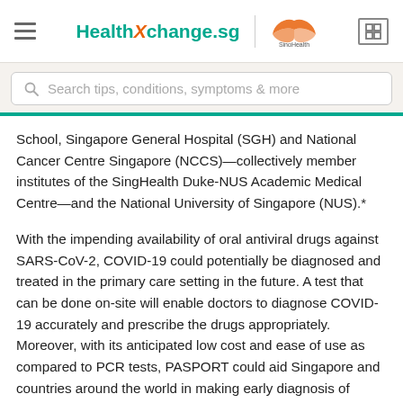HealthXchange.sg | SingHealth
Search tips, conditions, symptoms & more
School, Singapore General Hospital (SGH) and National Cancer Centre Singapore (NCCS)—collectively member institutes of the SingHealth Duke-NUS Academic Medical Centre—and the National University of Singapore (NUS).*
With the impending availability of oral antiviral drugs against SARS-CoV-2, COVID-19 could potentially be diagnosed and treated in the primary care setting in the future. A test that can be done on-site will enable doctors to diagnose COVID-19 accurately and prescribe the drugs appropriately. Moreover, with its anticipated low cost and ease of use as compared to PCR tests, PASPORT could aid Singapore and countries around the world in making early diagnosis of COVID-19 to initiate appropriate case management. The research was published online on Monday, 6 December, 2021, in the